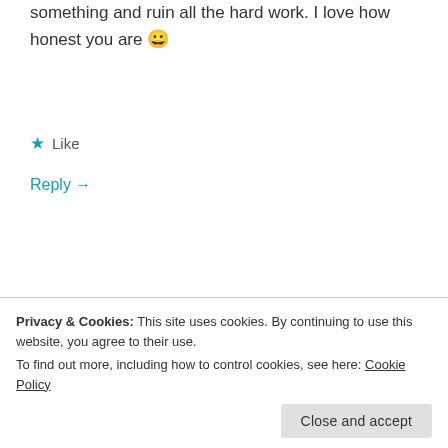something and ruin all the hard work. I love how honest you are 😀
★ Like
Reply →
KARI
September 18, 2017 at 6:42 am
It is SO hard! I don't even know why I thought it would be a good idea to begin with.
★ Like
Privacy & Cookies: This site uses cookies. By continuing to use this website, you agree to their use.
To find out more, including how to control cookies, see here: Cookie Policy
Close and accept